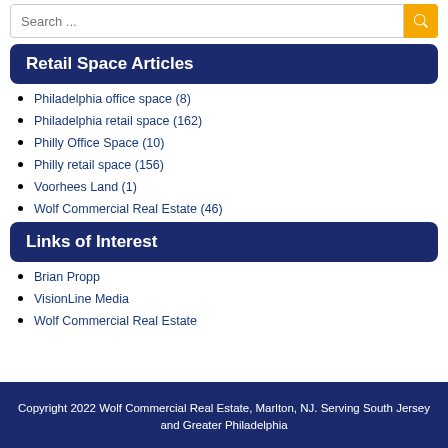Retail Space Articles
Philadelphia office space (8)
Philadelphia retail space (162)
Philly Office Space (10)
Philly retail space (156)
Voorhees Land (1)
Wolf Commercial Real Estate (46)
Links of Interest
Brian Propp
VisionLine Media
Wolf Commercial Real Estate
Copyright 2022 Wolf Commercial Real Estate, Marlton, NJ. Serving South Jersey and Greater Philadelphia